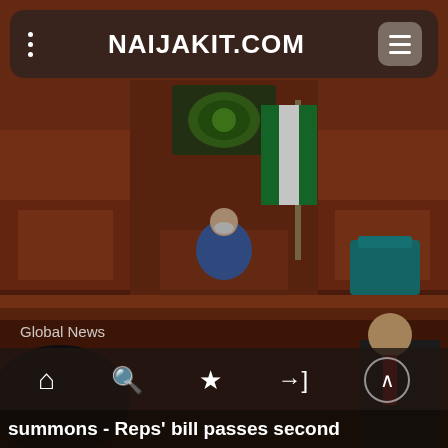NAIJAKIT.COM
[Figure (photo): Interior of a Nigerian legislative chamber (House of Representatives). A presiding officer wearing a face mask and blue outfit sits at the Speaker's podium. Nigerian flag and green coat-of-arms emblem visible behind. Teal/green upholstered chairs visible. Warm wood-paneled walls. Another official in suit and tie visible at right foreground.]
Global News
summons - Reps' bill passes second